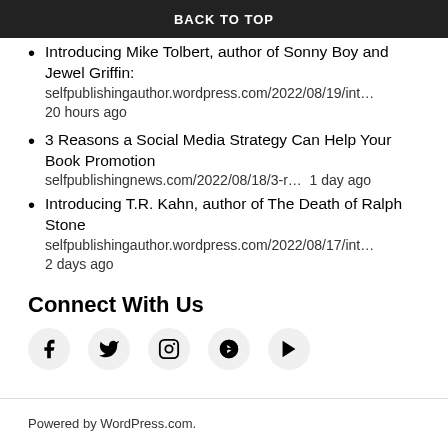BACK TO TOP
Introducing Mike Tolbert, author of Sonny Boy and Jewel Griffin:
selfpublishingauthor.wordpress.com/2022/08/19/int…
20 hours ago
3 Reasons a Social Media Strategy Can Help Your Book Promotion
selfpublishingnews.com/2022/08/18/3-r… 1 day ago
Introducing T.R. Kahn, author of The Death of Ralph Stone
selfpublishingauthor.wordpress.com/2022/08/17/int…
2 days ago
Connect With Us
[Figure (infographic): Social media icons row: Facebook, Twitter, Instagram, Pinterest, YouTube]
Powered by WordPress.com.